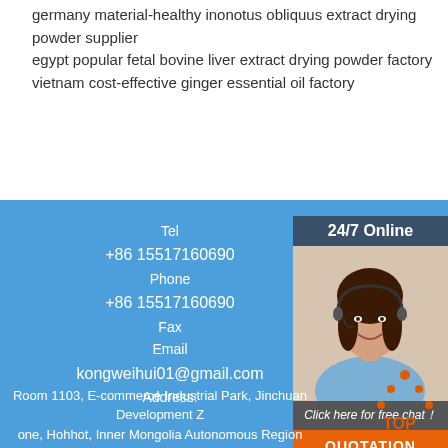germany material-healthy inonotus obliquus extract drying powder supplier
egypt popular fetal bovine liver extract drying powder factory
vietnam cost-effective ginger essential oil factory
[Figure (photo): 24/7 Online customer service widget with photo of woman wearing headset, 'Click here for free chat!' text, and orange QUOTATION button]
Tel
+86 15517160690
Phone
+86 15517160690
Fax
Email
kongweihui01@gmail.com
Address:
Room 1103, E-commerce Industrial Park, Jinchuan Development Zone, Hohhot, Inner Mongolia Autonomous Region